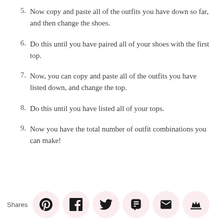5. Now copy and paste all of the outfits you have down so far, and then change the shoes.
6. Do this until you have paired all of your shoes with the first top.
7. Now, you can copy and paste all of the outfits you have listed down, and change the top.
8. Do this until you have listed all of your tops.
9. Now you have the total number of outfit combinations you can make!
Shares [social share icons: Pinterest, Facebook, Twitter, SMS, Email, Crown]